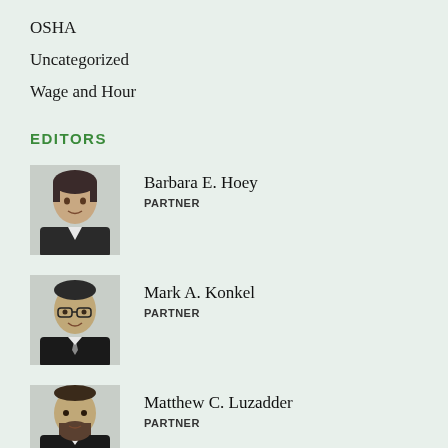OSHA
Uncategorized
Wage and Hour
EDITORS
[Figure (photo): Black and white headshot of Barbara E. Hoey, a woman with short dark hair wearing a blazer]
Barbara E. Hoey
PARTNER
[Figure (photo): Black and white headshot of Mark A. Konkel, a man wearing glasses and a tie]
Mark A. Konkel
PARTNER
[Figure (photo): Black and white headshot of Matthew C. Luzadder, a man with a beard]
Matthew C. Luzadder
PARTNER